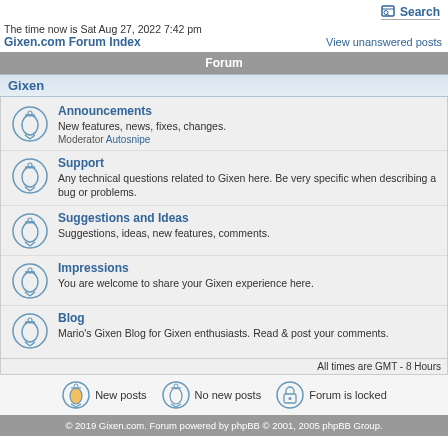Search
The time now is Sat Aug 27, 2022 7:42 pm
Gixen.com Forum Index   View unanswered posts
Forum
Gixen
Announcements
New features, news, fixes, changes.
Moderator Autosnipe
Support
Any technical questions related to Gixen here. Be very specific when describing a bug or problems.
Suggestions and Ideas
Suggestions, ideas, new features, comments.
Impressions
You are welcome to share your Gixen experience here.
Blog
Mario's Gixen Blog for Gixen enthusiasts. Read & post your comments.
All times are GMT - 8 Hours
New posts   No new posts   Forum is locked
© 2019 Gixen.com. Forum powered by phpBB © 2001, 2005 phpBB Group.